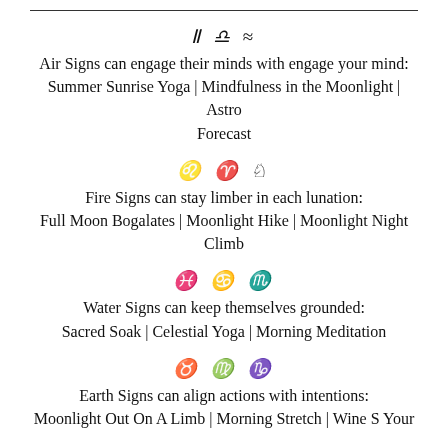♊ ♎ ♒
Air Signs can engage their minds with engage your mind: Summer Sunrise Yoga | Mindfulness in the Moonlight | Astro Forecast
♌ ♈ ♐
Fire Signs can stay limber in each lunation: Full Moon Bogalates | Moonlight Hike | Moonlight Night Climb
♓ ♋ ♏
Water Signs can keep themselves grounded: Sacred Soak | Celestial Yoga | Morning Meditation
♉ ♍ ♑
Earth Signs can align actions with intentions: Moonlight Out On A Limb | Morning Stretch | Wine S Your